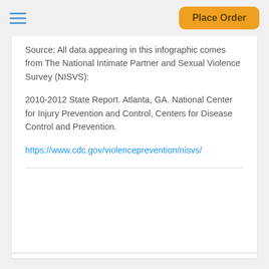Place Order
Source: All data appearing in this infographic comes from The National Intimate Partner and Sexual Violence Survey (NISVS):
2010-2012 State Report. Atlanta, GA. National Center for Injury Prevention and Control, Centers for Disease Control and Prevention.
https://www.cdc.gov/violenceprevention/nisvs/